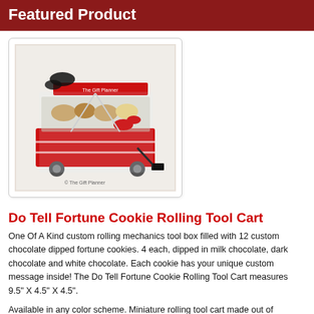Featured Product
[Figure (photo): Photo of a red rolling tool cart filled with chocolate-dipped fortune cookies, wrapped in cellophane and decorated with black, red, and silver ribbons and bows.]
Do Tell Fortune Cookie Rolling Tool Cart
One Of A Kind custom rolling mechanics tool box filled with 12 custom chocolate dipped fortune cookies. 4 each, dipped in milk chocolate, dark chocolate and white chocolate. Each cookie has your unique custom message inside! The Do Tell Fortune Cookie Rolling Tool Cart measures 9.5" X 4.5" X 4.5".
Available in any color scheme. Miniature rolling tool cart made out of